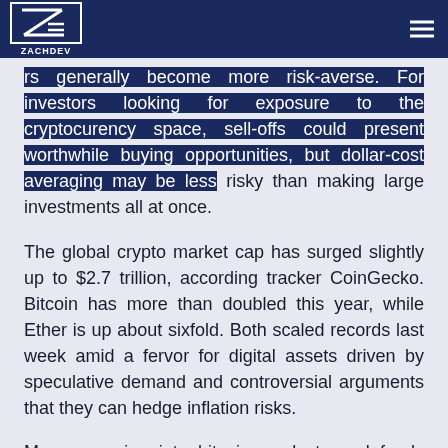ZACHDEV
investors generally become more risk-averse. For investors looking for exposure to the cryptocurrency space, sell-offs could present worthwhile buying opportunities, but dollar-cost averaging may be less risky than making large investments all at once.
The global crypto market cap has surged slightly up to $2.7 trillion, according tracker CoinGecko. Bitcoin has more than doubled this year, while Ether is up about sixfold. Both scaled records last week amid a fervor for digital assets driven by speculative demand and controversial arguments that they can hedge inflation risks.
Money pouring into bitcoin products and funds has hit a record $9 billion this year, and totaled $151 million last week in the 13th consecutive week of inflows, data from digital asset manager CoinShares shows.